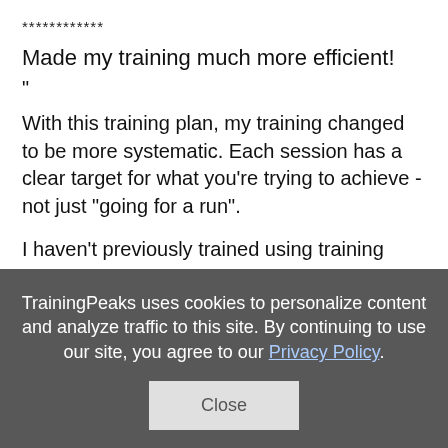************
Made my training much more efficient!
"
With this training plan, my training changed to be more systematic. Each session has a clear target for what you're trying to achieve - not just "going for a run".
I haven't previously trained using training zones, and this made the training much more efficient. I've improved my run pace nicely (and it was my strongest discipline before) and really improved my
TrainingPeaks uses cookies to personalize content and analyze traffic to this site. By continuing to use our site, you agree to our Privacy Policy.
Close